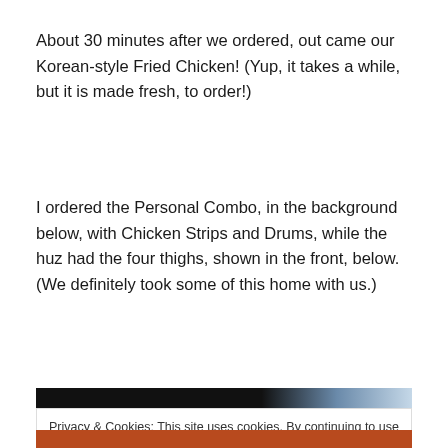About 30 minutes after we ordered, out came our Korean-style Fried Chicken! (Yup, it takes a while, but it is made fresh, to order!)
I ordered the Personal Combo, in the background below, with Chicken Strips and Drums, while the huz had the four thighs, shown in the front, below. (We definitely took some of this home with us.)
[Figure (photo): Top portion of a photo showing Korean-style fried chicken in a dark setting]
Privacy & Cookies: This site uses cookies. By continuing to use this website, you agree to their use.
To find out more, including how to control cookies, see here: Cookie Policy
Close and accept
[Figure (photo): Bottom portion of a photo showing Korean-style fried chicken]